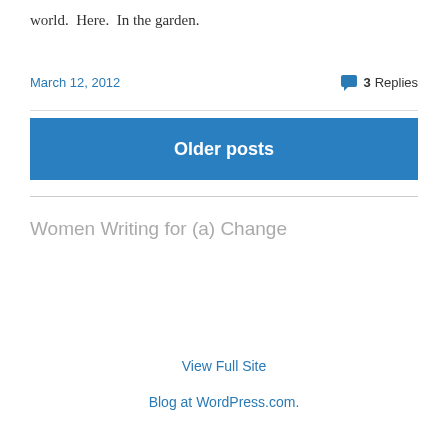world.  Here.  In the garden.
March 12, 2012
3 Replies
Older posts
Women Writing for (a) Change
View Full Site
Blog at WordPress.com.